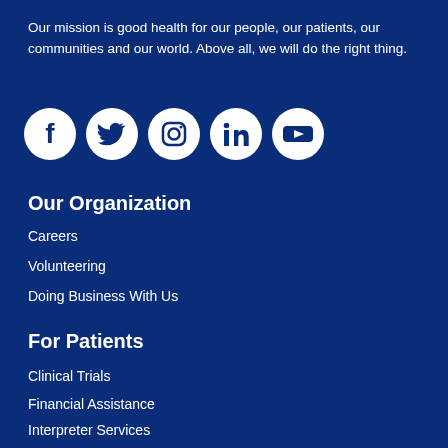Our mission is good health for our people, our patients, our communities and our world. Above all, we will do the right thing.
[Figure (illustration): Row of five social media icons (Facebook, Twitter, Instagram, LinkedIn, YouTube) as white icons on dark blue circular backgrounds]
Our Organization
Careers
Volunteering
Doing Business With Us
For Patients
Clinical Trials
Financial Assistance
Interpreter Services
Medical Records